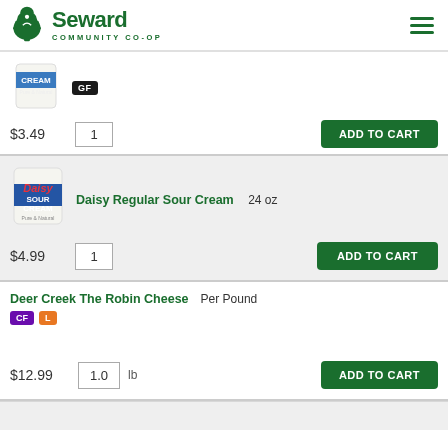Seward Community Co-op
[Figure (screenshot): Partial product listing — cream product with GF badge, price $3.49, quantity 1, ADD TO CART button]
[Figure (photo): Daisy Sour Cream container]
Daisy Regular Sour Cream  24 oz
$4.99
1  ADD TO CART
Deer Creek The Robin Cheese  Per Pound
CF  L
$12.99
1.0  lb  ADD TO CART